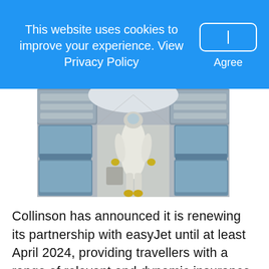This website uses cookies to improve your experience. View Privacy Policy
[Figure (photo): Person in full white protective hazmat suit walking down the aisle of an airplane with blue seats on both sides]
Collinson has announced it is renewing its partnership with easyJet until at least April 2024, providing travellers with a range of relevant and dynamic insurance options, including dedicated COVID-19 cover for all domestic travel.